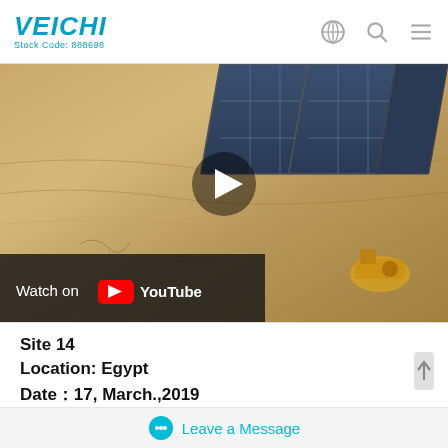VEICHI Stock Code: 888698
[Figure (screenshot): Video thumbnail showing a desert scene with solar panels and a pump, with a YouTube 'Watch on YouTube' overlay and play button.]
Site 14
Location: Egypt
Date：17, March.,2019
Pump:
Rated Power:  11kW
Rated Voltage: 380VAC 3 Phase
Leave a Message